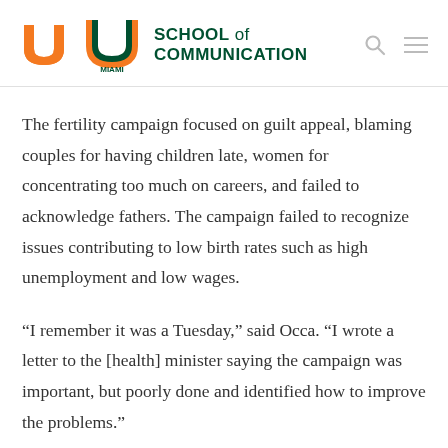SCHOOL of COMMUNICATION — University of Miami
The fertility campaign focused on guilt appeal, blaming couples for having children late, women for concentrating too much on careers, and failed to acknowledge fathers. The campaign failed to recognize issues contributing to low birth rates such as high unemployment and low wages.
“I remember it was a Tuesday,” said Occa. “I wrote a letter to the [health] minister saying the campaign was important, but poorly done and identified how to improve the problems.”